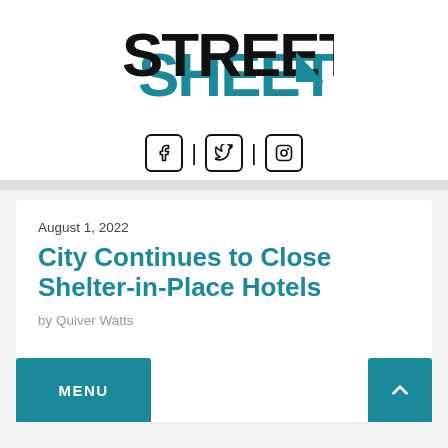[Figure (logo): Street Sheet publication logo — bold black text 'STREET' with teal/blue shadow letters 'SHEET' and a blue triangle/arrow graphic]
[Figure (infographic): Social media icons row: Facebook, Twitter (X), Instagram — each in a rounded-square border, separated by vertical bars]
August 1, 2022
City Continues to Close Shelter-in-Place Hotels
by Quiver Watts